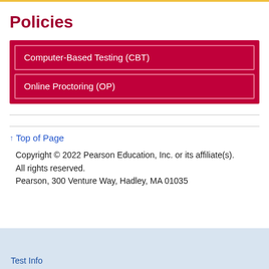Policies
Computer-Based Testing (CBT)
Online Proctoring (OP)
↑ Top of Page
Copyright © 2022 Pearson Education, Inc. or its affiliate(s). All rights reserved.
Pearson, 300 Venture Way, Hadley, MA 01035
Test Info